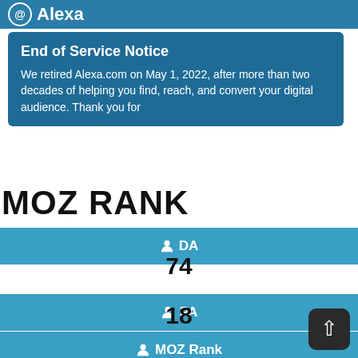@ Alexa
End of Service Notice
We retired Alexa.com on May 1, 2022, after more than two decades of helping you find, reach, and convert your digital audience. Thank you for
MOZ RANK
DA
74
PA
18
MOZ Rank